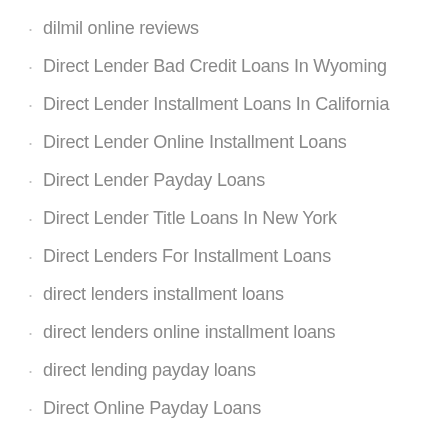dilmil online reviews
Direct Lender Bad Credit Loans In Wyoming
Direct Lender Installment Loans In California
Direct Lender Online Installment Loans
Direct Lender Payday Loans
Direct Lender Title Loans In New York
Direct Lenders For Installment Loans
direct lenders installment loans
direct lenders online installment loans
direct lending payday loans
Direct Online Payday Loans